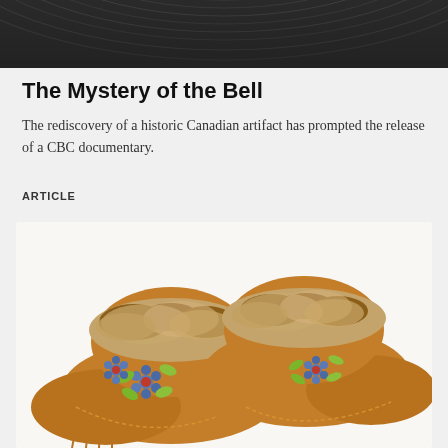[Figure (photo): Top portion of a vinyl record with grooves visible, dark background]
The Mystery of the Bell
The rediscovery of a historic Canadian artifact has prompted the release of a CBC documentary.
ARTICLE
[Figure (photo): A pair of beaded moccasins with fur trim, featuring floral beadwork in blue, green, and red/orange on tan leather, photographed on white background]